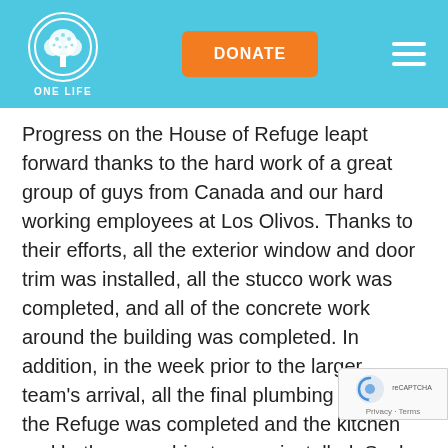ONE LIFE — DONATE
Progress on the House of Refuge leapt forward thanks to the hard work of a great group of guys from Canada and our hard working employees at Los Olivos. Thanks to their efforts, all the exterior window and door trim was installed, all the stucco work was completed, and all of the concrete work around the building was completed. In addition, in the week prior to the larger team's arrival, all the final plumbing work in the Refuge was completed and the kitchen and bathroom cabinets were installed. Such a huge thank you to Richard Wilkie, John Frede, Chris Les, Rawlyn Thiessen, Andrew Fralick, Tom Hildebrand, Dale Thaler, Isaias Vasques Lopez, Hector Alvarez Moralez, Ivan Islas Cabrera, and [Sigler]. All of your efforts moved mountains in the two weeks.